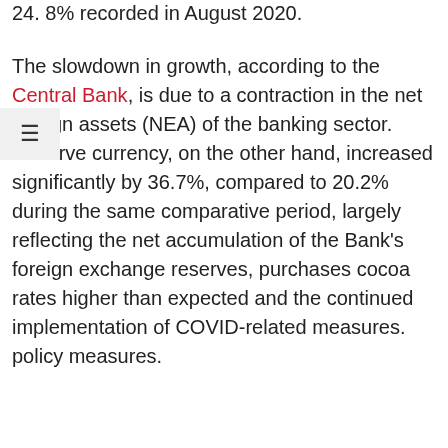24. 8% recorded in August 2020.
The slowdown in growth, according to the Central Bank, is due to a contraction in the net foreign assets (NEA) of the banking sector. Reserve currency, on the other hand, increased significantly by 36.7%, compared to 20.2% during the same comparative period, largely reflecting the net accumulation of the Bank's foreign exchange reserves, purchases cocoa rates higher than expected and the continued implementation of COVID-related measures. policy measures.